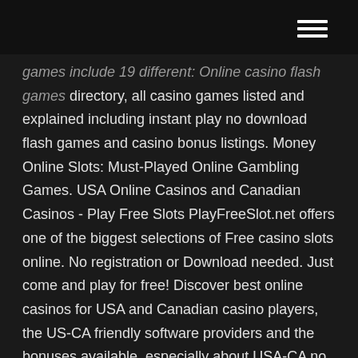games include 19 different: Online casino flash games directory, all casino games listed and explained including instant play no download flash games and casino bonus listings. Money Online Slots: Must-Played Online Gambling Games. USA Online Casinos and Canadian Casinos - Play Free Slots PlayFreeSlot.net offers one of the biggest selections of Free casino slots online. No registration or Download needed. Just come and play for free! Discover best online casinos for USA and Canadian casino players, the US-CA friendly software providers and the bonuses available, especially about USA-CA no deposit casino bonus and Free Spins Bonus. Free Online Slots - Play Casino Slot Machine Games for Fun PLAY FREE SLOT GAMES ONLINE. Spinners of the world… Welcome to Slotomania – the #1 free social slot game online! Join over 100 Million...